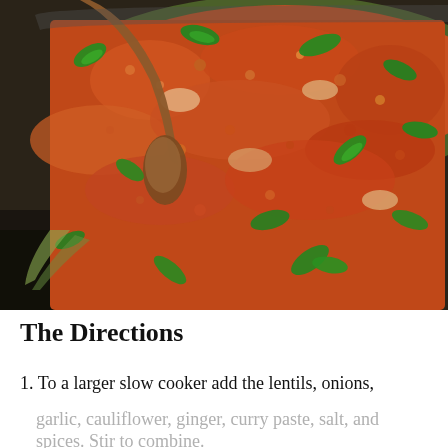[Figure (photo): Close-up photo of a slow cooker filled with red lentil cauliflower curry garnished with fresh cilantro leaves, with a wooden spoon visible. A KitchenAid slow cooker is partially visible in the lower left.]
The Directions
1. To a larger slow cooker add the lentils, onions, garlic, cauliflower, ginger, curry paste, salt, and spices. Stir to combine.